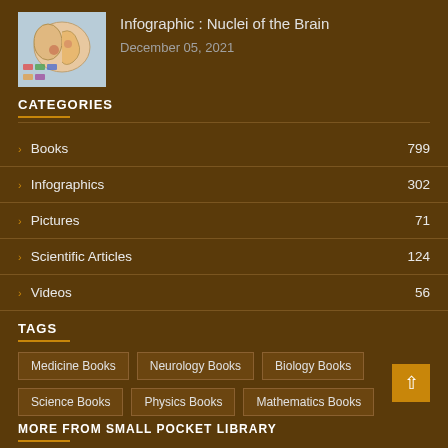[Figure (thumbnail): Small thumbnail image of brain infographic showing nuclei of the brain]
Infographic : Nuclei of the Brain
December 05, 2021
CATEGORIES
Books 799
Infographics 302
Pictures 71
Scientific Articles 124
Videos 56
TAGS
Medicine Books
Neurology Books
Biology Books
Science Books
Physics Books
Mathematics Books
MORE FROM SMALL POCKET LIBRARY